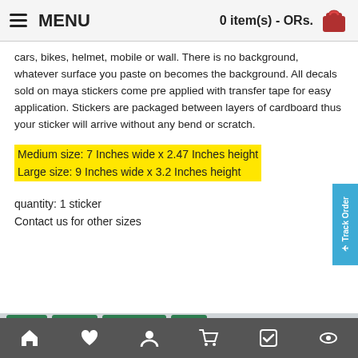MENU | 0 item(s) - ORs.
cars, bikes, helmet, mobile or wall. There is no background, whatever surface you paste on becomes the background. All decals sold on maya stickers come pre applied with transfer tape for easy application. Stickers are packaged between layers of cardboard thus your sticker will arrive without any bend or scratch.
Medium size: 7 Inches wide x 2.47 Inches height
Large size: 9 Inches wide x 3.2 Inches height
quantity: 1 sticker
Contact us for other sizes
Tags: beard mustache men —
Related prodct | People also bought